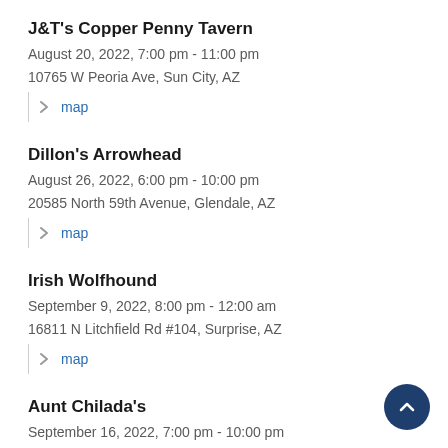J&T's Copper Penny Tavern
August 20, 2022, 7:00 pm - 11:00 pm
10765 W Peoria Ave, Sun City, AZ
map
Dillon's Arrowhead
August 26, 2022, 6:00 pm - 10:00 pm
20585 North 59th Avenue, Glendale, AZ
map
Irish Wolfhound
September 9, 2022, 8:00 pm - 12:00 am
16811 N Litchfield Rd #104, Surprise, AZ
map
Aunt Chilada's
September 16, 2022, 7:00 pm - 10:00 pm